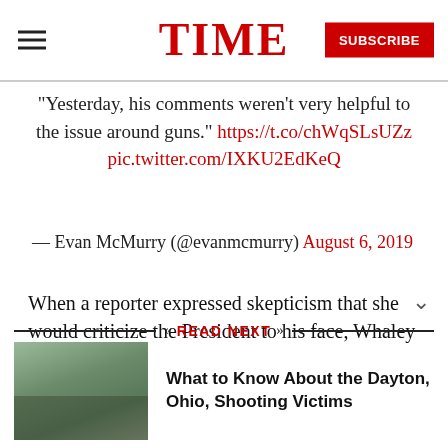TIME | SUBSCRIBE
"Yesterday, his comments weren't very helpful to the issue around guns." https://t.co/chWqSLsUZz pic.twitter.com/IXKU2EdKeQ
— Evan McMurry (@evanmcmurry) August 6, 2019
When a reporter expressed skepticism that she would criticize the President to his face, Whaley
READ NEXT
What to Know About the Dayton, Ohio, Shooting Victims